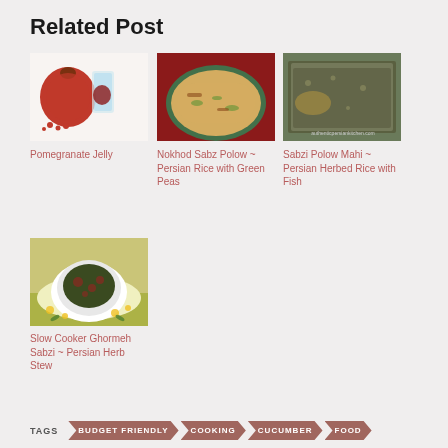Related Post
[Figure (photo): Pomegranate jelly with whole pomegranate and seeds]
Pomegranate Jelly
[Figure (photo): Nokhod Sabz Polow - Persian Rice with Green Peas in a teal bowl]
Nokhod Sabz Polow ~ Persian Rice with Green Peas
[Figure (photo): Sabzi Polow Mahi - Persian Herbed Rice with Fish in a baking dish]
Sabzi Polow Mahi ~ Persian Herbed Rice with Fish
[Figure (photo): Slow Cooker Ghormeh Sabzi in a white bowl on a decorative plate]
Slow Cooker Ghormeh Sabzi ~ Persian Herb Stew
TAGS
BUDGET FRIENDLY
COOKING
CUCUMBER
FOOD